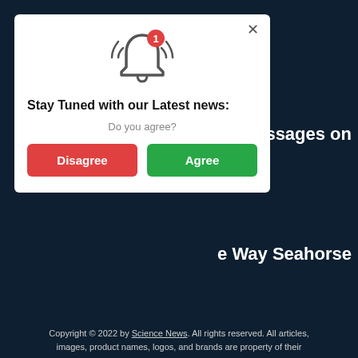[Figure (screenshot): Modal dialog with a notification bell icon, title 'Stay Tuned with our Latest news:', subtitle 'Do you agree?', and two buttons: 'Disagree' (red) and 'Agree' (green). A close X button is in the top-right corner.]
xt Messages on
e Way Seahorse
With Pulses Inside
most.hisms
Greenhouse Gas And Sea Levels Hit Record Highs in 2021, Despite COVID’s Impact
Researchers Just Wirelessly Transmitted Power Over 98 Feet of Thin Air
Copyright © 2022 by Science News. All rights reserved. All articles, images, product names, logos, and brands are property of their